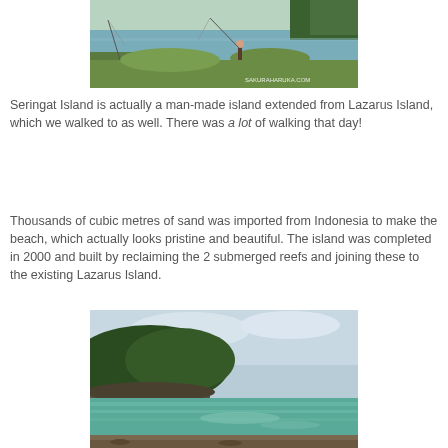[Figure (photo): A person fishing by a calm waterway with green grass and trees in the background. Watermark reads SAKURAHARUKA.COM.]
Seringat Island is actually a man-made island extended from Lazarus Island, which we walked to as well. There was a lot of walking that day!
Thousands of cubic metres of sand was imported from Indonesia to make the beach, which actually looks pristine and beautiful. The island was completed in 2000 and built by reclaiming the 2 submerged reefs and joining these to the existing Lazarus Island.
[Figure (photo): A scenic coastal view with turquoise-green sea water, rocky shoreline, and tree-covered hillside under a cloudy sky.]